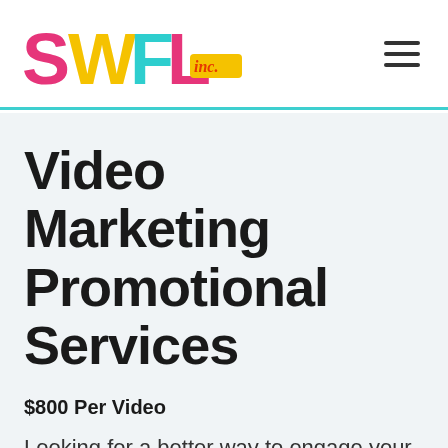[Figure (logo): SWFL inc. logo with colorful letters: S in pink/magenta, W in yellow, F in teal/cyan, L in pink, with 'inc.' in orange script on a yellow background badge]
Video Marketing Promotional Services
$800 Per Video
Looking for a better way to engage your customers and attract clients through